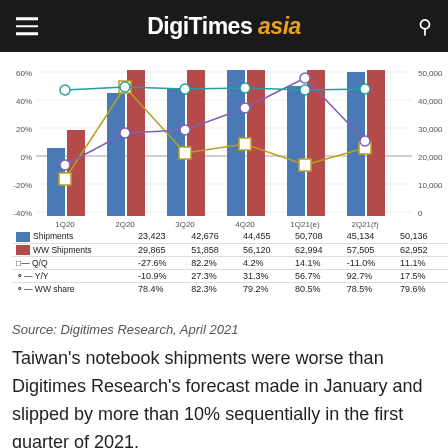DIGITIMES asia
[Figure (grouped-bar-chart): Taiwan Notebook Shipments]
Source: Digitimes Research, April 2021
Taiwan's notebook shipments were worse than Digitimes Research's forecast made in January and slipped by more than 10% sequentially in the first quarter of 2021.
on year. (Note: Unless otherwise indicated, all